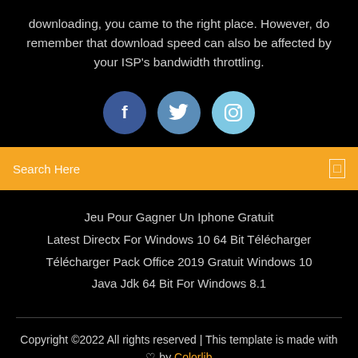downloading, you came to the right place. However, do remember that download speed can also be affected by your ISP's bandwidth throttling.
[Figure (illustration): Three social media icon circles: Facebook (dark blue), Twitter (medium blue), Instagram (light blue)]
Search Here
Jeu Pour Gagner Un Iphone Gratuit
Latest Directx For Windows 10 64 Bit Télécharger
Télécharger Pack Office 2019 Gratuit Windows 10
Java Jdk 64 Bit For Windows 8.1
Copyright ©2022 All rights reserved | This template is made with ♡ by Colorlib